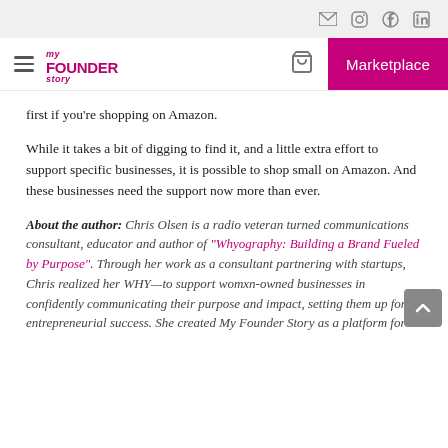My Founder Story — navigation bar with Marketplace button
first if you're shopping on Amazon.
While it takes a bit of digging to find it, and a little extra effort to support specific businesses, it is possible to shop small on Amazon. And these businesses need the support now more than ever.
About the author: Chris Olsen is a radio veteran turned communications consultant, educator and author of "Whyography: Building a Brand Fueled by Purpose". Through her work as a consultant partnering with startups, Chris realized her WHY—to support womxn-owned businesses in confidently communicating their purpose and impact, setting them up for entrepreneurial success. She created My Founder Story as a platform for